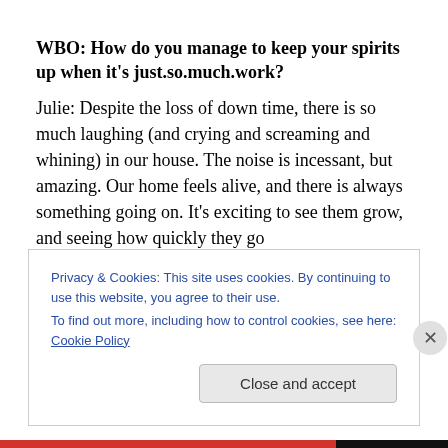WBO:  How do you manage to keep your spirits up when it's just.so.much.work?
Julie:  Despite the loss of down time, there is so much laughing (and crying and screaming and whining) in our house. The noise is incessant, but amazing. Our home feels alive, and there is always something going on. It's exciting to see them grow, and seeing how quickly they go
Privacy & Cookies: This site uses cookies. By continuing to use this website, you agree to their use.
To find out more, including how to control cookies, see here: Cookie Policy